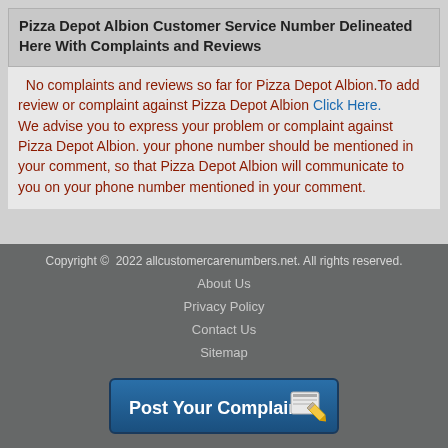Pizza Depot Albion Customer Service Number Delineated Here With Complaints and Reviews
No complaints and reviews so far for Pizza Depot Albion.To add review or complaint against Pizza Depot Albion Click Here. We advise you to express your problem or complaint against Pizza Depot Albion. your phone number should be mentioned in your comment, so that Pizza Depot Albion will communicate to you on your phone number mentioned in your comment.
Copyright © 2022 allcustomercarenumbers.net. All rights reserved.
About Us
Privacy Policy
Contact Us
Sitemap
[Figure (other): Post Your Complaint button with pencil icon]